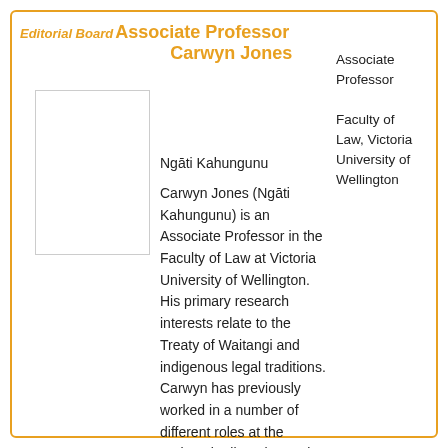Editorial Board
Associate Professor Carwyn Jones
Associate Professor
Faculty of Law, Victoria University of Wellington
[Figure (photo): Placeholder photo box for Associate Professor Carwyn Jones]
Ngāti Kahungunu
Carwyn Jones (Ngāti Kahungunu) is an Associate Professor in the Faculty of Law at Victoria University of Wellington.  His primary research interests relate to the Treaty of Waitangi and indigenous legal traditions.  Carwyn has previously worked in a number of different roles at the Waitangi Tribunal, Māori Land Court, and the Office of Treaty Settlements. He is the